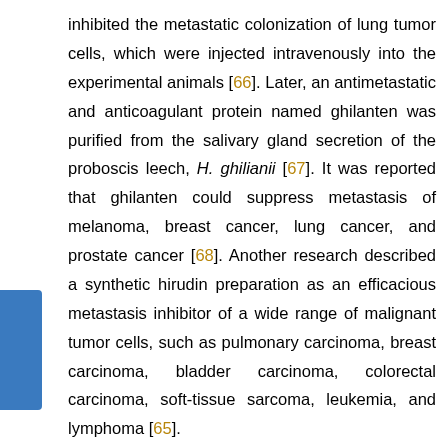inhibited the metastatic colonization of lung tumor cells, which were injected intravenously into the experimental animals [66]. Later, an antimetastatic and anticoagulant protein named ghilanten was purified from the salivary gland secretion of the proboscis leech, H. ghilianii [67]. It was reported that ghilanten could suppress metastasis of melanoma, breast cancer, lung cancer, and prostate cancer [68]. Another research described a synthetic hirudin preparation as an efficacious metastasis inhibitor of a wide range of malignant tumor cells, such as pulmonary carcinoma, breast carcinoma, bladder carcinoma, colorectal carcinoma, soft-tissue sarcoma, leukemia, and lymphoma [65].